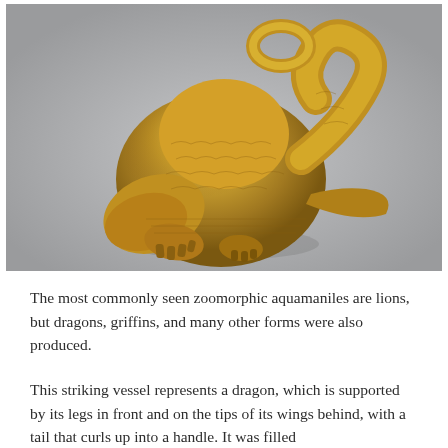[Figure (photo): A golden dragon-shaped aquamanile vessel photographed against a grey background. The object is a bronze or gilded metal vessel shaped like a crouching dragon with engraved feather/scale patterns, two clawed feet in front, and a tail that curves up to form a handle.]
The most commonly seen zoomorphic aquamaniles are lions, but dragons, griffins, and many other forms were also produced.
This striking vessel represents a dragon, which is supported by its legs in front and on the tips of its wings behind, with a tail that curls up into a handle. It was filled